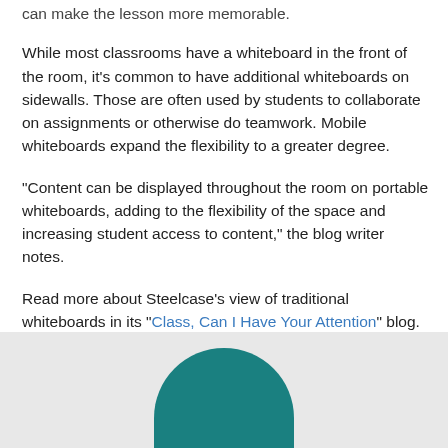can make the lesson more memorable.
While most classrooms have a whiteboard in the front of the room, it's common to have additional whiteboards on sidewalls. Those are often used by students to collaborate on assignments or otherwise do teamwork. Mobile whiteboards expand the flexibility to a greater degree.
“Content can be displayed throughout the room on portable whiteboards, adding to the flexibility of the space and increasing student access to content,” the blog writer notes.
Read more about Steelcase’s view of traditional whiteboards in its “Class, Can I Have Your Attention” blog.
[Figure (illustration): Teal semicircle decorative element at the bottom of the page on a light gray background]